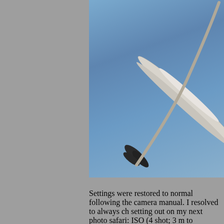[Figure (photo): Photograph of a bird (likely a heron or egret) in flight against a blue sky background. The bird's body and wing are visible diagonally, with dark wingtip feathers. The image is cropped showing the right portion of the page.]
Settings were restored to normal following the camera manual. I resolved to always check setting out on my next photo safari: ISO (4 shot; 3 m to infinity), Aperture Priority (SI point), Focus Point (single center), Image